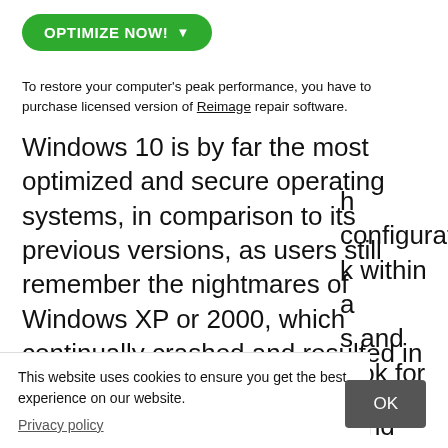[Figure (other): Green 'OPTIMIZE NOW!' button with dropdown arrow]
To restore your computer's peak performance, you have to purchase licensed version of Reimage repair software.
Windows 10 is by far the most optimized and secure operating systems, in comparison to its previous versions, as users still remember the nightmares of Windows XP or 2000, which continually crashed and resulted in Blue Screen of Death.[1] With the improvements to its security and stability, the latest version of Windows also includes a variety of new features like Cortana, built-in search bar, broader Troubleshooting options, and many others.
However, because Windows is a highly customizable [h configuration k within a s and look for
This website uses cookies to ensure you get the best experience on our website.
Privacy policy
OK